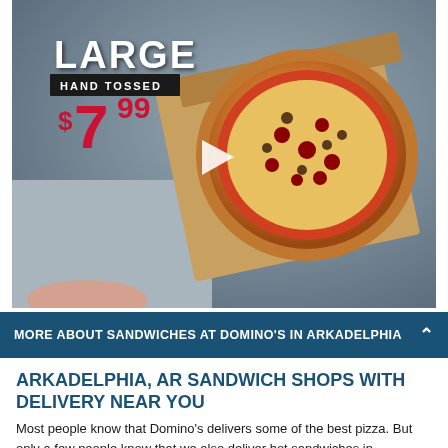[Figure (photo): Domino's pizza advertisement showing a large hand tossed pizza in a box with price overlay '$7.99' in red and 'LARGE HAND TOSSED' text in white. A play button is visible in the center of the image.]
MORE ABOUT SANDWICHES AT DOMINO'S IN ARKADELPHIA
ARKADELPHIA, AR SANDWICH SHOPS WITH DELIVERY NEAR YOU
Most people know that Domino's delivers some of the best pizza. But only a few people know that we also deliver hot sandwiches in Arkadelphia for when one slice of bread won't do. From crisp veggie sandwiches to cheese steaks that would make any Philly proud, Domino's Arkadelphia has sandwich options to calm every craving. Plus, just like our pizzas, Domino's sandwiches are prepped with the best ingredients including shredded provolone, delicious sauces, grilled chicken, dressings, and more.